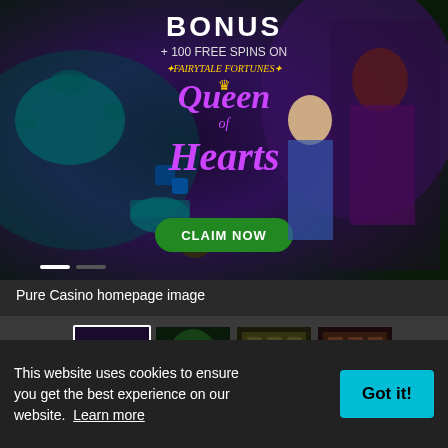[Figure (screenshot): Pure Casino homepage banner showing 'BONUS + 100 FREE SPINS ON FAIRYTALE FORTUNES - Queen of Hearts' with fantasy characters including Alice in Wonderland style figures and a 'CLAIM NOW' button on dark purple/teal background]
Pure Casino homepage image
[Figure (screenshot): Thumbnail strip showing 4 casino game screenshots with left and right navigation arrows. First thumbnail is selected/highlighted with white border.]
Pure Casino Details
Currencies: AUD, BRL, BTC, EUR, USD, ZAR
This website uses cookies to ensure you get the best experience on our website. Learn more
Got it!